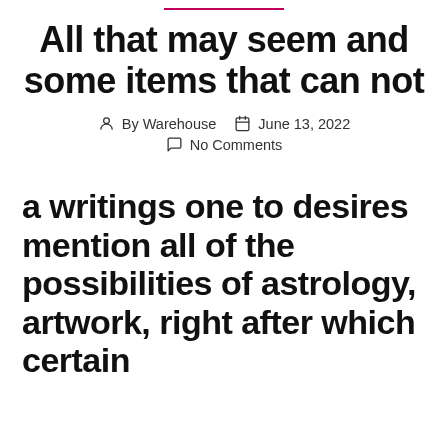All that may seem and some items that can not
By Warehouse  June 13, 2022  No Comments
a writings one to desires mention all of the possibilities of astrology, artwork, right after which certain